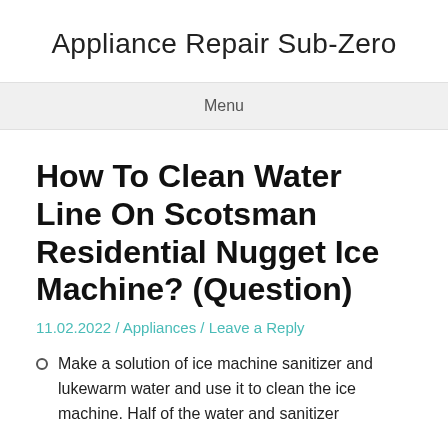Appliance Repair Sub-Zero
Menu
How To Clean Water Line On Scotsman Residential Nugget Ice Machine? (Question)
11.02.2022 / Appliances / Leave a Reply
Make a solution of ice machine sanitizer and lukewarm water and use it to clean the ice machine. Half of the water and sanitizer